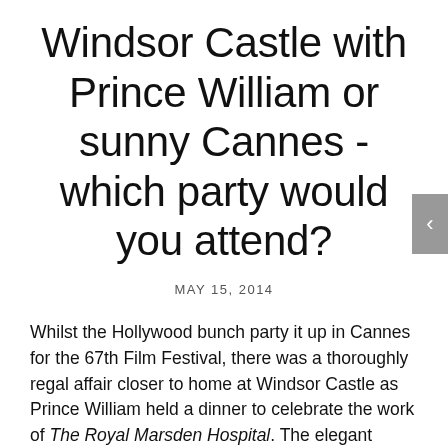Windsor Castle with Prince William or sunny Cannes - which party would you attend?
MAY 15, 2014
Whilst the Hollywood bunch party it up in Cannes for the 67th Film Festival, there was a thoroughly regal affair closer to home at Windsor Castle as Prince William held a dinner to celebrate the work of The Royal Marsden Hospital. The elegant soiree was sponsored by Ralph Lauren, who has announced he will be funding a brand new breast cancer centre at the hospital. The exceptional number of A-list guests were dressed head-to-toe